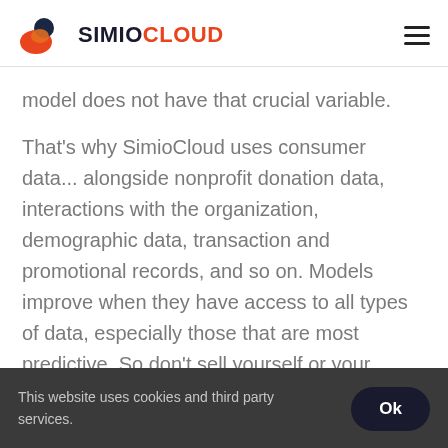SIMIOCLOUD
model does not have that crucial variable.
That's why SimioCloud uses consumer data... alongside nonprofit donation data, interactions with the organization, demographic data, transaction and promotional records, and so on. Models improve when they have access to all types of data, especially those that are most predictive. So don't sell yourself or your
This website uses cookies and third party services. Ok